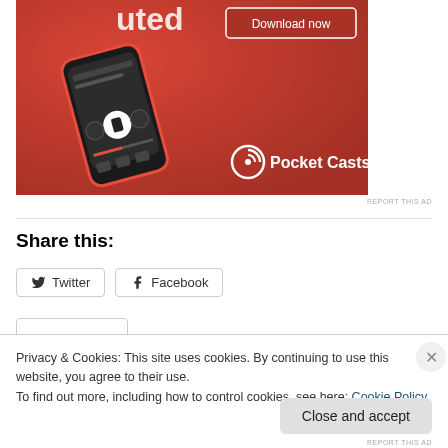[Figure (screenshot): Pocket Casts app advertisement showing a smartphone with a podcast player interface on a red background, with a 'Download now' button in the upper right corner and the Pocket Casts logo at the bottom right.]
REPORT THIS AD
Share this:
Twitter
Facebook
Privacy & Cookies: This site uses cookies. By continuing to use this website, you agree to their use.
To find out more, including how to control cookies, see here: Cookie Policy
Close and accept
REPORT THIS AD